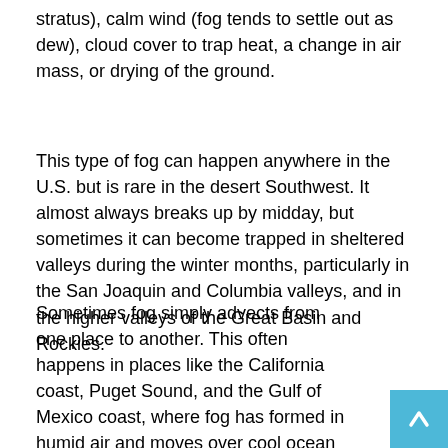stratus), calm wind (fog tends to settle out as dew), cloud cover to trap heat, a change in air mass, or drying of the ground.
This type of fog can happen anywhere in the U.S. but is rare in the desert Southwest. It almost always breaks up by midday, but sometimes it can become trapped in sheltered valleys during the winter months, particularly in the San Joaquin and Columbia valleys, and in the higher valleys of the Great Basin and Rockies.
Sometimes fog simply advects from one place to another. This often happens in places like the California coast, Puget Sound, and the Gulf of Mexico coast, where fog has formed in humid air and moves over cool ocean currents. All that's needed is a wind of about 10-15 knots or more to advect it in. By advection, we mean that almost everything is physically